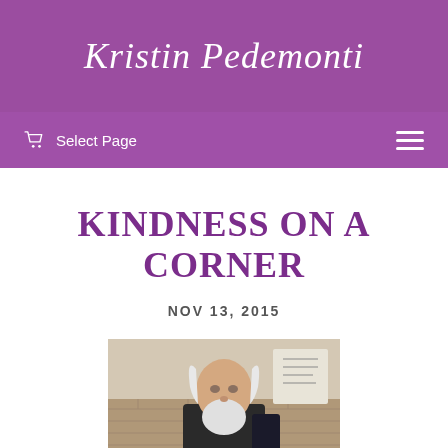Kristin Pedemonti
Select Page
KINDNESS ON A CORNER
NOV 13, 2015
[Figure (photo): Photo of an elderly man with long white hair and beard, wearing dark clothing, standing in front of a brick wall]